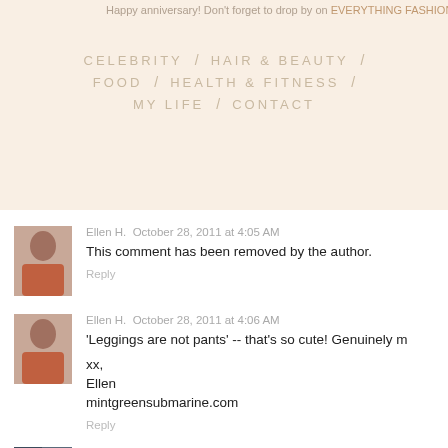Happy anniversary! Don't forget to drop by on EVERYTHING FASHION fashion trends, celebrity gossip, social causes, beauty CELEBRITY / HAIR & BEAUTY / FOOD / HEALTH & FITNESS / MY LIFE / CONTACT
Ellen H. October 28, 2011 at 4:05 AM
This comment has been removed by the author.
Reply
Ellen H. October 28, 2011 at 4:06 AM
'Leggings are not pants' -- that's so cute! Genuinely m

xx,
Ellen
mintgreensubmarine.com
Reply
Caterina Salvietti October 28, 2011 at 4:54 AM
Hi, really nice blog! :) you're so stylish!